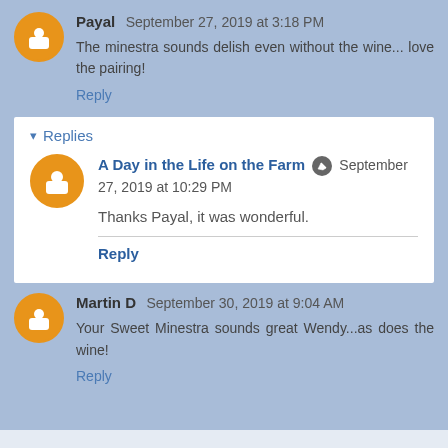Payal  September 27, 2019 at 3:18 PM
The minestra sounds delish even without the wine... love the pairing!
Reply
▾ Replies
A Day in the Life on the Farm  September 27, 2019 at 10:29 PM
Thanks Payal, it was wonderful.
Reply
Martin D  September 30, 2019 at 9:04 AM
Your Sweet Minestra sounds great Wendy...as does the wine!
Reply